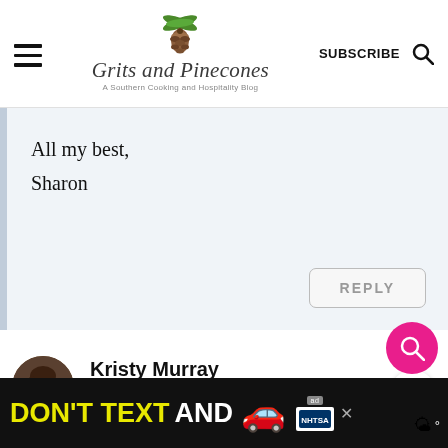Grits and Pinecones — A Southern Cooking and Hospitality Blog
All my best,
Sharon
REPLY
Kristy Murray
329
October 08, 2018 at 11:57 am
[Figure (screenshot): Ad banner: DON'T TEXT AND [car emoji] with NHTSA ad badge and weather widget]
DON'T TEXT AND